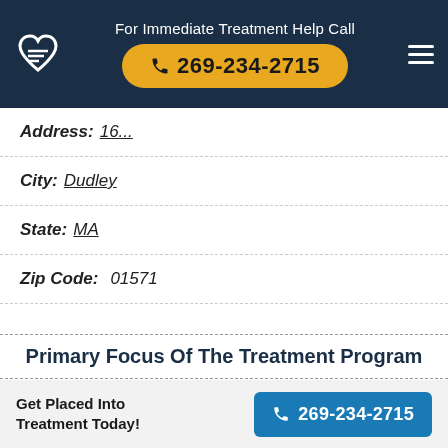For Immediate Treatment Help Call 269-234-2715
Address: 16...
City: Dudley
State: MA
Zip Code: 01571
Primary Focus Of The Treatment Program
Dual diagnosis / co-occurring treatment - Mental health and substance abuse
Get Placed Into Treatment Today! 269-234-2715